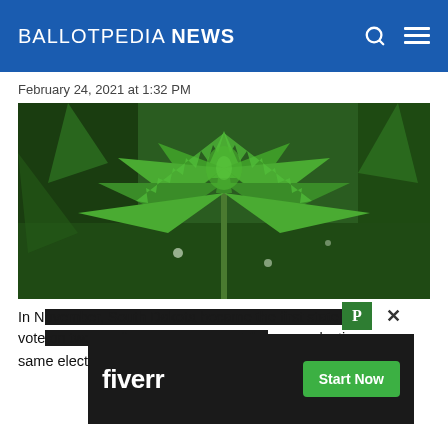BALLOTPEDIA NEWS
February 24, 2021 at 1:32 PM
[Figure (photo): Close-up photograph of cannabis plant leaves with green background vegetation]
In November, South Dakota became the first state to vote on two marijuana measures at the same election. Voters approved Initiated Measure 26